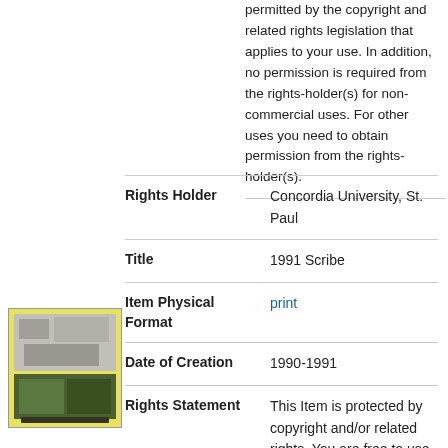permitted by the copyright and related rights legislation that applies to your use. In addition, no permission is required from the rights-holder(s) for non-commercial uses. For other uses you need to obtain permission from the rights-holder(s).
| Field | Value |
| --- | --- |
| Rights Holder | Concordia University, St. Paul |
| Title | 1991 Scribe |
| Item Physical Format | print |
| Date of Creation | 1990-1991 |
| Rights Statement | This Item is protected by copyright and/or related rights. You are free to use this Item in any way that is |
[Figure (photo): Thumbnail image of 1991 Scribe publication cover with yellow background]